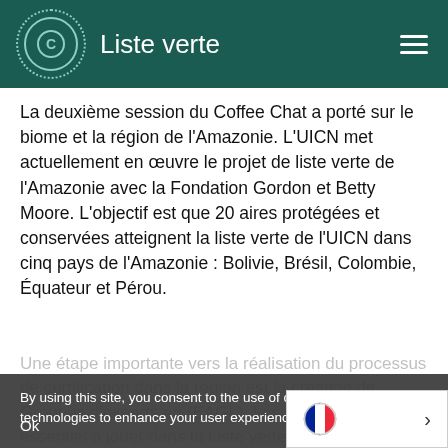Liste verte
La deuxième session du Coffee Chat a porté sur le biome et la région de l'Amazonie. L'UICN met actuellement en œuvre le projet de liste verte de l'Amazonie avec la Fondation Gordon et Betty Moore. L'objectif est que 20 aires protégées et conservées atteignent la liste verte de l'UICN dans cinq pays de l'Amazonie : Bolivie, Brésil, Colombie, Équateur et Pérou.
Une étape importante vers la réalisation du processus de certification dans la région est la création de Groupes d'experts en (EAGL). Les EAGL ont un rôle essentiel à jouer dans la Liste verte de l'UICN, ils fournissent les principales évaluations scientifiques et techniques candidats pour le processu
By using this site, you consent to the use of cookies and similar technologies to enhance your user experience. Learn more
Ok